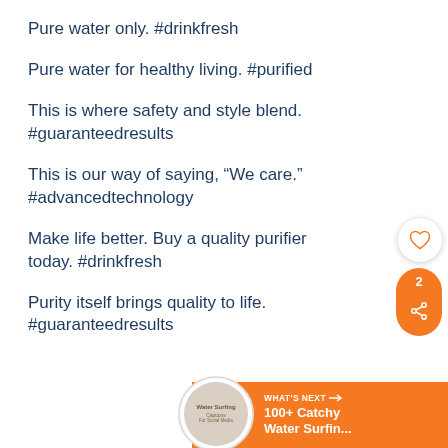Pure water only. #drinkfresh
Pure water for healthy living. #purified
This is where safety and style blend. #guaranteedresults
This is our way of saying, “We care.” #advancedtechnology
Make life better. Buy a quality purifier today. #drinkfresh
Purity itself brings quality to life. #guaranteedresults
[Figure (infographic): UI overlay with heart/like button and orange share button showing count of 2, plus a 'What's Next' orange banner in bottom right corner with circle thumbnail and text '100+ Catchy Water Surfin...']